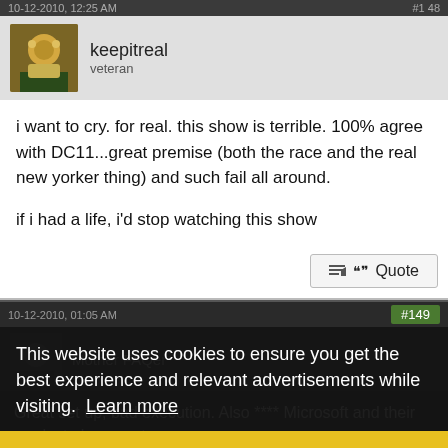10-12-2010, 12:25 AM
keepitreal
вeteran
i want to cry. for real. this show is terrible. 100% agree with DC11...great premise (both the race and the real new yorker thing) and such fail all around.

if i had a life, i'd stop watching this show
Quote
10-12-2010, 01:05 AM  #149
Mother FAQer
Great set up, bad execution. Also **** Microsoft and their product placement.
This website uses cookies to ensure you get the best experience and relevant advertisements while visiting.  Learn more
Got it!
Quote